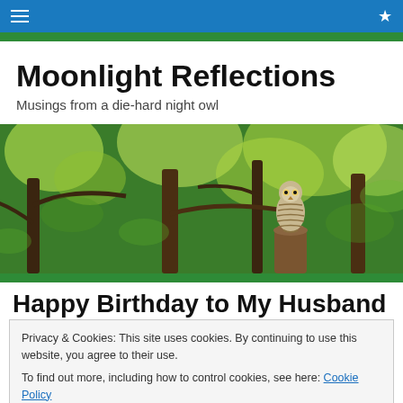Moonlight Reflections — navigation bar
Moonlight Reflections
Musings from a die-hard night owl
[Figure (photo): A barred owl perched on a tree stump surrounded by green leafy forest trees, used as a hero/banner image for the blog.]
Happy Birthday to My Husband
Privacy & Cookies: This site uses cookies. By continuing to use this website, you agree to their use.
To find out more, including how to control cookies, see here: Cookie Policy
[Close and accept button]
back in the day when new moms stayed in the hospital 5-7